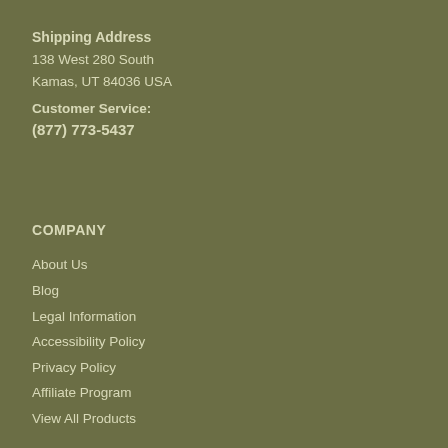Shipping Address
138 West 280 South
Kamas, UT 84036 USA
Customer Service:
(877) 773-5437
COMPANY
About Us
Blog
Legal Information
Accessibility Policy
Privacy Policy
Affiliate Program
View All Products